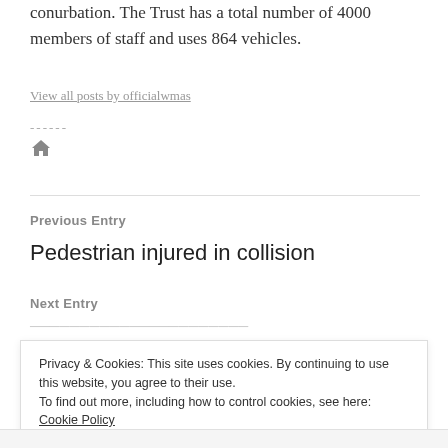conurbation. The Trust has a total number of 4000 members of staff and uses 864 vehicles.
View all posts by officialwmas
------
[Figure (illustration): Home icon (house symbol)]
Previous Entry
Pedestrian injured in collision
Next Entry
Privacy & Cookies: This site uses cookies. By continuing to use this website, you agree to their use. To find out more, including how to control cookies, see here: Cookie Policy
Close and accept